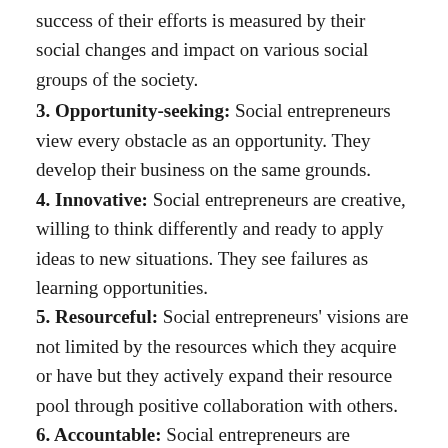success of their efforts is measured by their social changes and impact on various social groups of the society.
3. Opportunity-seeking: Social entrepreneurs view every obstacle as an opportunity. They develop their business on the same grounds.
4. Innovative: Social entrepreneurs are creative, willing to think differently and ready to apply ideas to new situations. They see failures as learning opportunities.
5. Resourceful: Social entrepreneurs' visions are not limited by the resources which they acquire or have but they actively expand their resource pool through positive collaboration with others.
6. Accountable: Social entrepreneurs are accountable to their beneficiaries like customers,